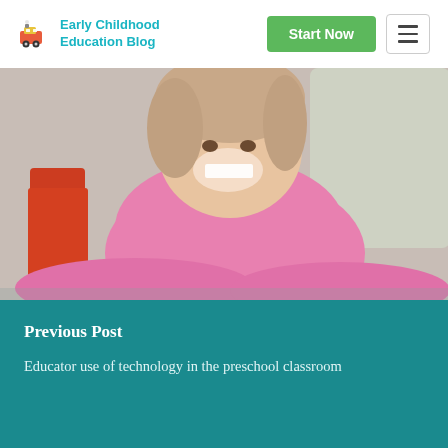Early Childhood Education Blog
[Figure (photo): Young smiling girl in pink shirt seated at a classroom desk with red chair, blurred light background]
Previous Post
Educator use of technology in the preschool classroom